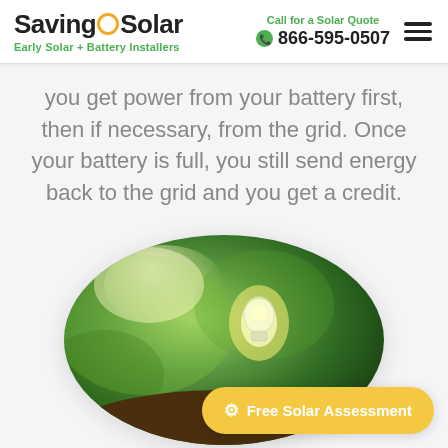SavingOnSolar — Early Solar + Battery Installers | Call for a Solar Quote 866-595-0507
you get power from your battery first, then if necessary, from the grid. Once your battery is full, you still send energy back to the grid and you get a credit.
[Figure (photo): Oval-shaped photo of a glowing light bulb surrounded by green foliage and sunlight, with soil/earth at the bottom, representing solar and clean energy.]
Free Solar Assessment